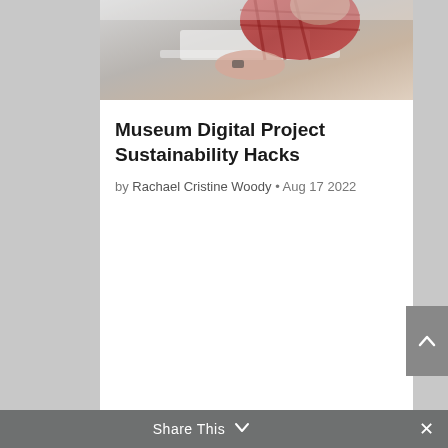[Figure (photo): A person working at a laptop, wearing a red plaid shirt, viewed from above/side angle.]
Museum Digital Project Sustainability Hacks
by Rachael Cristine Woody • Aug 17 2022
Share This ∨  ✕